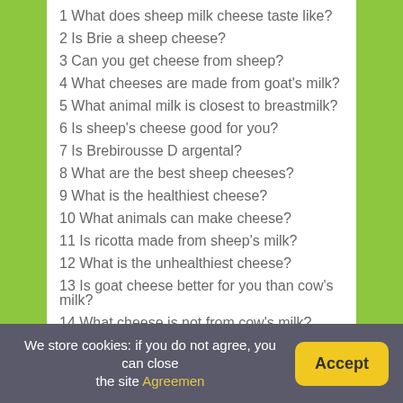1 What does sheep milk cheese taste like?
2 Is Brie a sheep cheese?
3 Can you get cheese from sheep?
4 What cheeses are made from goat's milk?
5 What animal milk is closest to breastmilk?
6 Is sheep's cheese good for you?
7 Is Brebirousse D argental?
8 What are the best sheep cheeses?
9 What is the healthiest cheese?
10 What animals can make cheese?
11 Is ricotta made from sheep's milk?
12 What is the unhealthiest cheese?
13 Is goat cheese better for you than cow's milk?
14 What cheese is not from cow's milk?
We store cookies: if you do not agree, you can close the site Agreemen